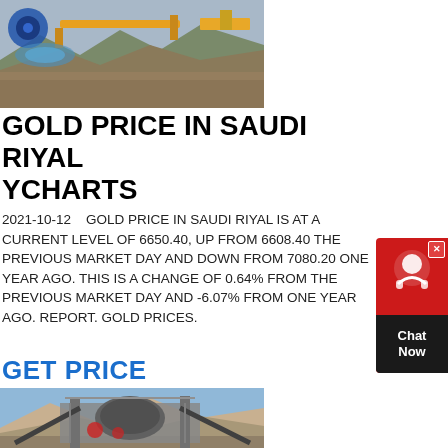[Figure (photo): Mining/construction site with heavy machinery and equipment, top portion of page]
GOLD PRICE IN SAUDI RIYAL YCHARTS
2021-10-12    GOLD PRICE IN SAUDI RIYAL IS AT A CURRENT LEVEL OF 6650.40, UP FROM 6608.40 THE PREVIOUS MARKET DAY AND DOWN FROM 7080.20 ONE YEAR AGO. THIS IS A CHANGE OF 0.64% FROM THE PREVIOUS MARKET DAY AND -6.07% FROM ONE YEAR AGO. REPORT. GOLD PRICES.
GET PRICE
[Figure (photo): Mining processing plant or crusher structure with mountains in background]